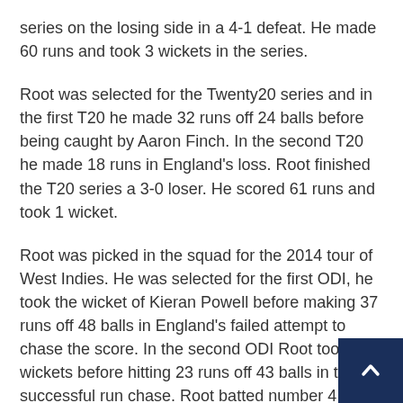series on the losing side in a 4-1 defeat. He made 60 runs and took 3 wickets in the series.
Root was selected for the Twenty20 series and in the first T20 he made 32 runs off 24 balls before being caught by Aaron Finch. In the second T20 he made 18 runs in England's loss. Root finished the T20 series a 3-0 loser. He scored 61 runs and took 1 wicket.
Root was picked in the squad for the 2014 tour of West Indies. He was selected for the first ODI, he took the wicket of Kieran Powell before making 37 runs off 48 balls in England's failed attempt to chase the score. In the second ODI Root took 2 wickets before hitting 23 runs off 43 balls in the successful run chase. Root batted number 4 in the third ODI where he made his maiden ODI century hitting 107 runs off 122